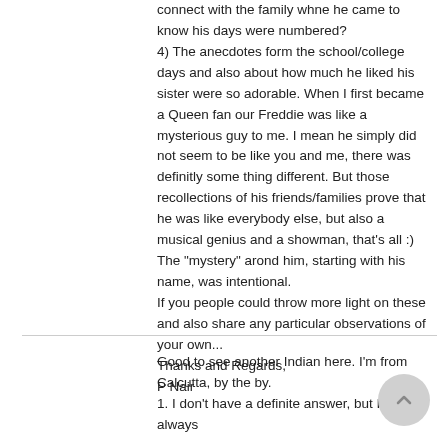connect with the family whne he came to know his days were numbered?
4) The anecdotes form the school/college days and also about how much he liked his sister were so adorable. When I first became a Queen fan our Freddie was like a mysterious guy to me. I mean he simply did not seem to be like you and me, there was definitly some thing different. But those recollections of his friends/families prove that he was like everybody else, but also a musical genius and a showman, that's all :) The "mystery" arond him, starting with his name, was intentional.
If you people could throw more light on these and also share any particular observations of your own...
Thanks and Regards,
P Nair
Good to see another Indian here. I'm from Calcutta, by the by.
1. I don't have a definite answer, but I've always